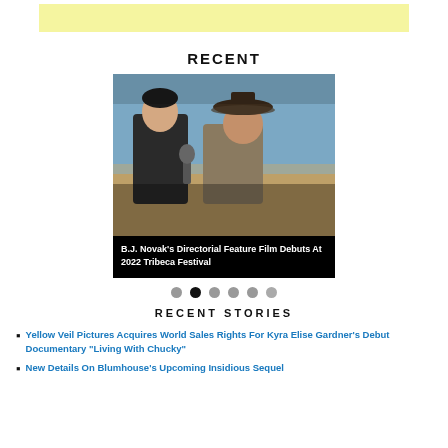[Figure (other): Yellow advertisement banner placeholder at top]
RECENT
[Figure (photo): Photo of two men outdoors in a desert-like setting; one in dark jacket, one in cowboy hat. Card shows caption: B.J. Novak's Directorial Feature Film Debuts At 2022 Tribeca Festival]
B.J. Novak's Directorial Feature Film Debuts At 2022 Tribeca Festival
[Figure (other): Six navigation dots, second dot is active/dark]
RECENT STORIES
Yellow Veil Pictures Acquires World Sales Rights For Kyra Elise Gardner's Debut Documentary “Living With Chucky”
New Details On Blumhouse’s Upcoming Insidious Sequel